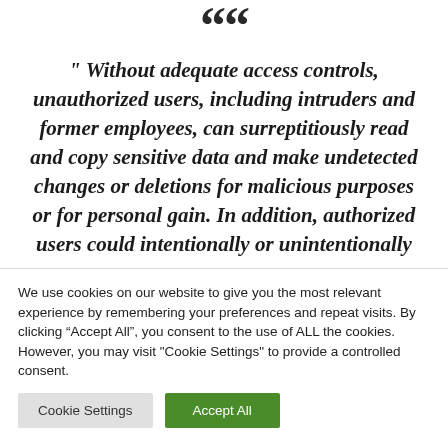““
“ Without adequate access controls, unauthorized users, including intruders and former employees, can surreptitiously read and copy sensitive data and make undetected changes or deletions for malicious purposes or for personal gain. In addition, authorized users could intentionally or unintentionally
We use cookies on our website to give you the most relevant experience by remembering your preferences and repeat visits. By clicking “Accept All”, you consent to the use of ALL the cookies. However, you may visit "Cookie Settings" to provide a controlled consent.
Cookie Settings
Accept All